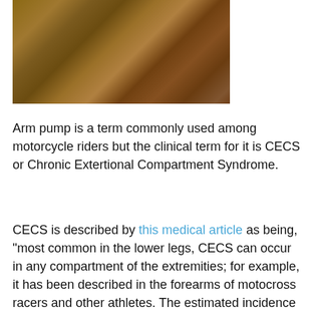[Figure (photo): Photograph of dirt/soil and rocks, possibly a motocross track or off-road terrain with reddish-brown earth]
Arm pump is a term commonly used among motorcycle riders but the clinical term for it is CECS or Chronic Extertional Compartment Syndrome.
CECS is described by this medical article as being, “most common in the lower legs, CECS can occur in any compartment of the extremities; for example, it has been described in the forearms of motocross racers and other athletes.  The estimated incidence is about 1 in 2000 persons each year.
CECS is characterized by exercise-induced